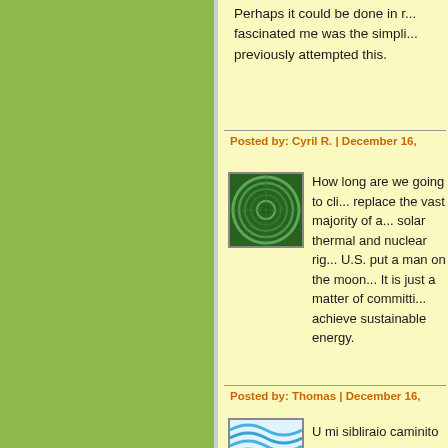Perhaps it could be done in r... fascinated me was the simpli... previously attempted this.
Posted by: Cyril R. | December 16,
[Figure (illustration): Green spiral/swirl pattern avatar icon]
How long are we going to cli... replace the vast majority of a... solar thermal and nuclear rig... U.S. put a man on the moon ... It is just a matter of committi... achieve sustainable energy.
Posted by: Thomas | December 16,
[Figure (illustration): Blue wavy lines pattern avatar icon]
U mi sibliraio caminito comsa...
Posted by: chimico | December 17,
[Figure (illustration): Purple/lavender star/geometric pattern avatar icon]
I think a read of the patent ap... conclusions. One of the thing... off peak renewable power to